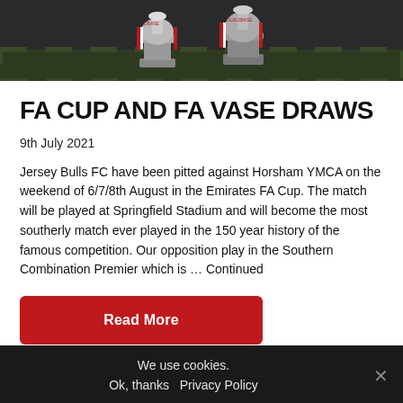[Figure (photo): Photo of FA Cup and FA Vase trophies on grass, partially cropped at top]
FA CUP AND FA VASE DRAWS
9th July 2021
Jersey Bulls FC have been pitted against Horsham YMCA on the weekend of 6/7/8th August in the Emirates FA Cup. The match will be played at Springfield Stadium and will become the most southerly match ever played in the 150 year history of the famous competition. Our opposition play in the Southern Combination Premier which is … Continued
Read More
We use cookies. Ok, thanks Privacy Policy